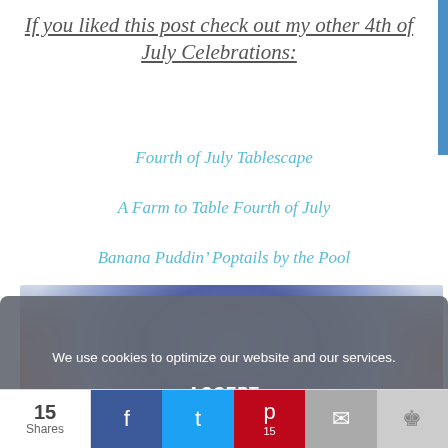If you liked this post check out my other 4th of July Celebrations:
Fourth of July Tablescape
A Farm to Table Fourth of July
Banana Puddin’ Poptails by the Pool
[Figure (photo): Photo showing blue and red/salmon colored objects (likely patriotic themed items), partially visible behind a cookie consent overlay]
We use cookies to optimize our website and our services.
ACCEPT
15 Shares | Social share bar with Facebook, Twitter, Pinterest (15), Email, and Crown icons